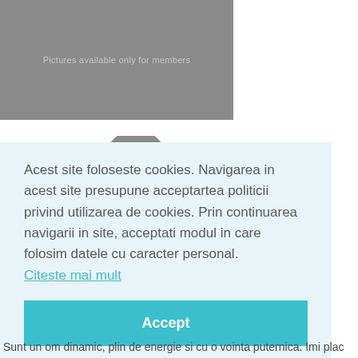[Figure (photo): Gray placeholder image with text 'Pictures available only for members']
[Figure (illustration): Gray silhouette of a person head and shoulders]
Acest site foloseste cookies. Navigarea in acest site presupune acceptartea politicii privind utilizarea de cookies. Prin continuarea navigarii in site, acceptati modul in care folosim datele cu caracter personal. Citeste mai mult
Accept
Sunt un om dinamic, plin de energie si cu o vointa puternica. Imi plac